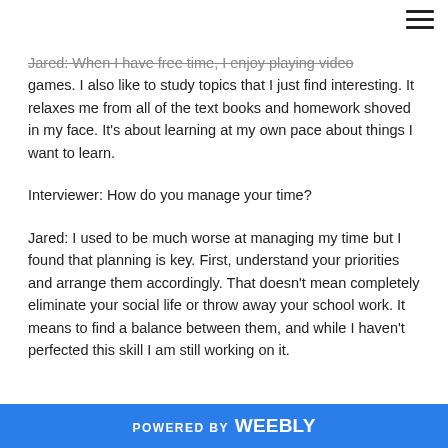Jared: When I have free time, I enjoy playing video games. I also like to study topics that I just find interesting. It relaxes me from all of the text books and homework shoved in my face. It's about learning at my own pace about things I want to learn.
Interviewer: How do you manage your time?
Jared: I used to be much worse at managing my time but I found that planning is key. First, understand your priorities and arrange them accordingly. That doesn't mean completely eliminate your social life or throw away your school work. It means to find a balance between them, and while I haven't perfected this skill I am still working on it.
POWERED BY weebly